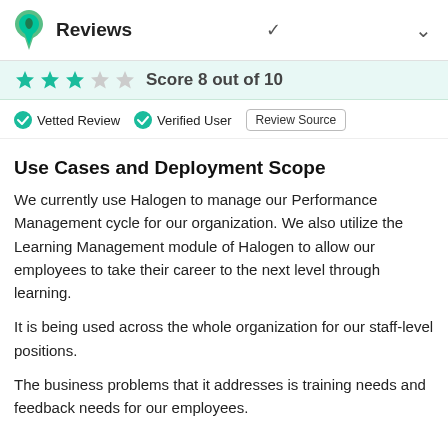Reviews
Score 8 out of 10
Vetted Review   Verified User   Review Source
Use Cases and Deployment Scope
We currently use Halogen to manage our Performance Management cycle for our organization. We also utilize the Learning Management module of Halogen to allow our employees to take their career to the next level through learning.
It is being used across the whole organization for our staff-level positions.
The business problems that it addresses is training needs and feedback needs for our employees.